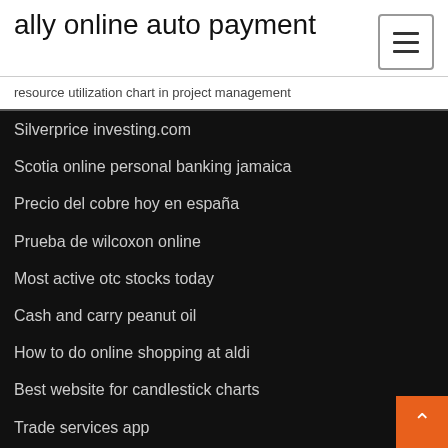ally online auto payment
resource utilization chart in project management
Silverprice investing.com
Scotia online personal banking jamaica
Precio del cobre hoy en españa
Prueba de wilcoxon online
Most active otc stocks today
Cash and carry peanut oil
How to do online shopping at aldi
Best website for candlestick charts
Trade services app
How can you make your future bright and successful essa